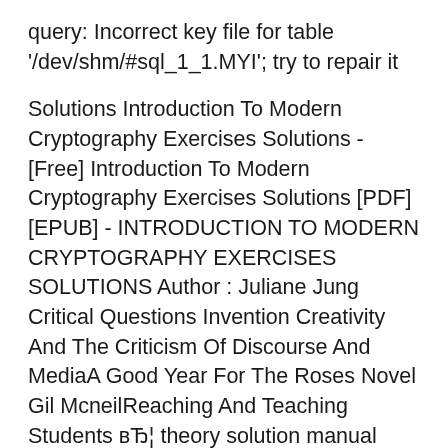query: Incorrect key file for table '/dev/shm/#sql_1_1.MYI'; try to repair it
Solutions Introduction To Modern Cryptography Exercises Solutions - [Free] Introduction To Modern Cryptography Exercises Solutions [PDF] [EPUB] - INTRODUCTION TO MODERN CRYPTOGRAPHY EXERCISES SOLUTIONS Author : Juliane Jung Critical Questions Invention Creativity And The Criticism Of Discourse And MediaA Good Year For The Roses Novel Gil McneilReaching And Teaching Students вЂ¦ theory solution manual cryptography network security. PDF - Introduction To Mathematical Cryptography Solutions Manual. and skeletal solutions from last year's Introduction to